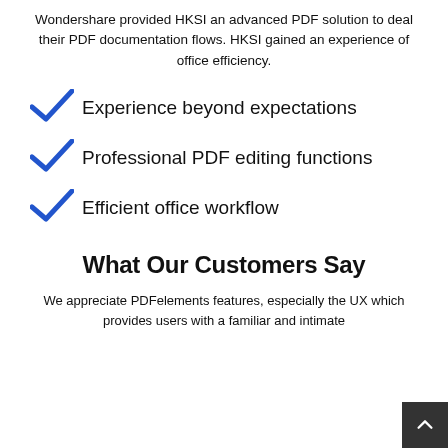Wondershare provided HKSI an advanced PDF solution to deal their PDF documentation flows. HKSI gained an experience of office efficiency.
Experience beyond expectations
Professional PDF editing functions
Efficient office workflow
What Our Customers Say
We appreciate PDFelements features, especially the UX which provides users with a familiar and intimate